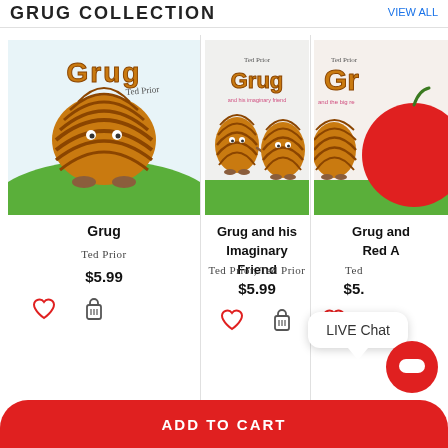GRUG COLLECTION
[Figure (photo): Book cover: Grug by Ted Prior — character with striped bee-hive shaped body on green hill]
Grug
Ted Prior
$5.99
[Figure (photo): Book cover: Grug and his Imaginary Friend by Ted Prior — two Grug characters walking]
Grug and his Imaginary Friend
Ted Prior, Ted Prior
$5.99
[Figure (photo): Book cover: Grug and the big red (partially visible) — Grug character with large red apple]
Grug and the Big Red A
Ted
$5.
LIVE Chat
ADD TO CART